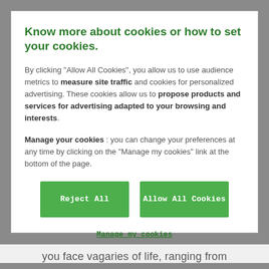Know more about cookies or how to set your cookies.
By clicking "Allow All Cookies", you allow us to use audience metrics to measure site traffic and cookies for personalized advertising. These cookies allow us to propose products and services for advertising adapted to your browsing and interests.
Manage your cookies : you can change your preferences at any time by clicking on the "Manage my cookies" link at the bottom of the page.
Reject All   Allow All Cookies
Manage my cookies
you face vagaries of life, ranging from